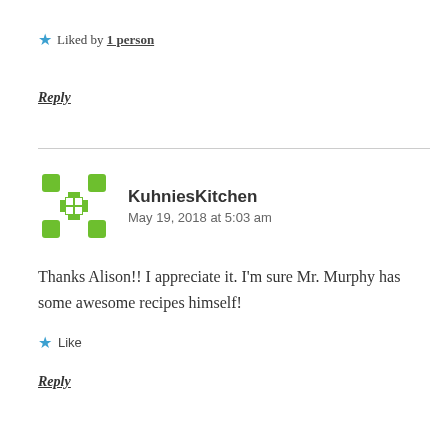★ Liked by 1 person
Reply
KuhniesKitchen
May 19, 2018 at 5:03 am
Thanks Alison!! I appreciate it. I'm sure Mr. Murphy has some awesome recipes himself!
★ Like
Reply